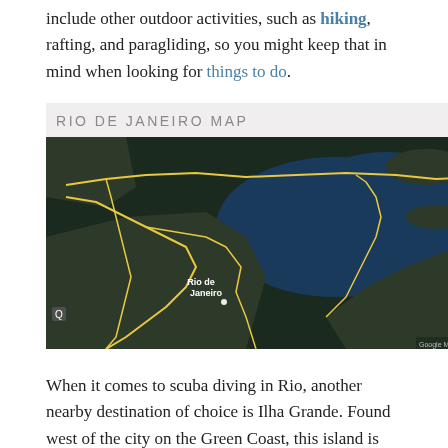include other outdoor activities, such as hiking, rafting, and paragliding, so you might keep that in mind when looking for things to do.
[Figure (map): Satellite map of Rio de Janeiro showing the city layout with yellow route lines, Guanabara Bay, and surrounding geography. Label reads RIO DE JANEIRO MAP at top.]
When it comes to scuba diving in Rio, another nearby destination of choice is Ilha Grande. Found west of the city on the Green Coast, this island is also an ideal place to get away from it all for a while when visiting Sao Paulo. On the island itself, a lush tropical jungle that is home to monkeys